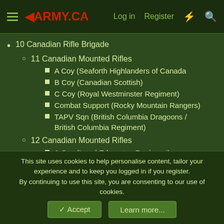◄ARMY.CA  Log in  Register
10 Canadian Rifle Brigade
11 Canadian Mounted Rifles
A Coy (Seaforth Highlanders of Canada
B Coy (Canadian Scottish)
C Coy (Royal Westminster Regiment)
Combat Support (Rocky Mountain Rangers)
TAPV Sqn (British Columbia Dragoons / British Columbia Regiment)
12 Canadian Mounted Rifles
A Coy (Loyal Edmonton Regiment)
B Coy (Calgary Highlanders)
C Coy (Royal Regina Rifles)
Combat Support (North Sask Regiment)
This site uses cookies to help personalise content, tailor your experience and to keep you logged in if you register. By continuing to use this site, you are consenting to our use of cookies.